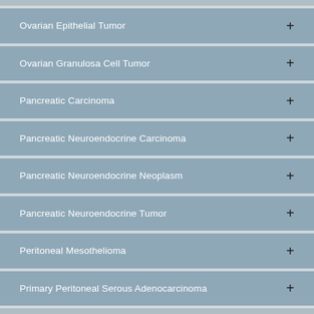Ovarian Epithelial Tumor
Ovarian Granulosa Cell Tumor
Pancreatic Carcinoma
Pancreatic Neuroendocrine Carcinoma
Pancreatic Neuroendocrine Neoplasm
Pancreatic Neuroendocrine Tumor
Peritoneal Mesothelioma
Primary Peritoneal Serous Adenocarcinoma